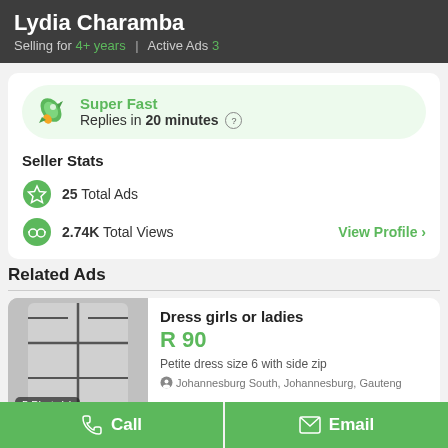Lydia Charamba
Selling for 4+ years | Active Ads 3
Super Fast
Replies in 20 minutes
Seller Stats
25 Total Ads
2.74K Total Views
View Profile >
Related Ads
Dress girls or ladies
R 90
Petite dress size 6 with side zip
Johannesburg South, Johannesburg, Gauteng
[Figure (photo): Grey dress photo with 5 Photo(s) label]
Call
Email